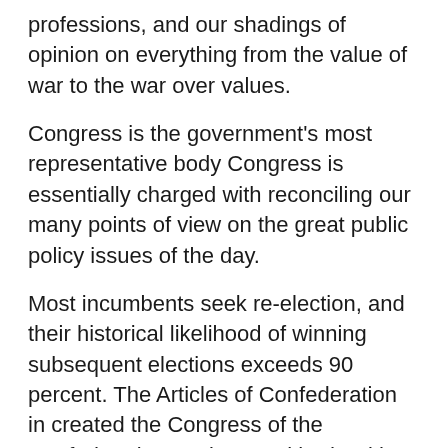professions, and our shadings of opinion on everything from the value of war to the war over values.
Congress is the government's most representative body Congress is essentially charged with reconciling our many points of view on the great public policy issues of the day.
Most incumbents seek re-election, and their historical likelihood of winning subsequent elections exceeds 90 percent. The Articles of Confederation in created the Congress of the Confederationa unicameral body with equal representation among the states in which each state had a veto over most decisions.
Congress had executive but not legislative authority, and the federal judiciary was confined to admiralty. Government powerlessness led to the Convention of which proposed a revised constitution with a two—chamber or bicameral congress. Zelizer suggested there were four main